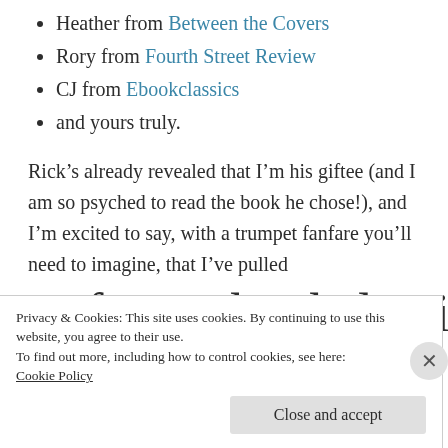Heather from Between the Covers
Rory from Fourth Street Review
CJ from Ebookclassics
and yours truly.
Rick’s already revealed that I’m his giftee (and I am so psyched to read the book he chose!), and I’m excited to say, with a trumpet fanfare you’ll need to imagine, that I’ve pulled
CJ from Ebookclassics
Privacy & Cookies: This site uses cookies. By continuing to use this website, you agree to their use.
To find out more, including how to control cookies, see here: Cookie Policy